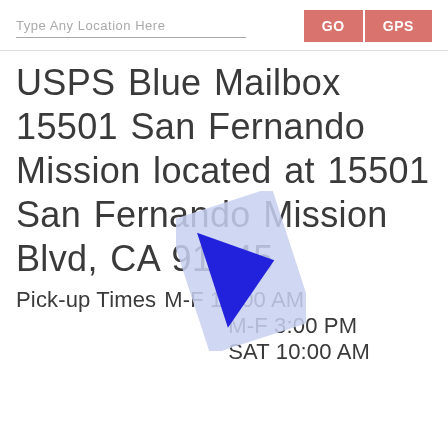Type Any Location Here  GO  GPS
USPS Blue Mailbox 15501 San Fernando Mission located at 15501 San Fernando Mission Blvd, CA 91345
[Figure (illustration): A map pin / navigation marker icon with a blue triangle/arrow pointing right on a light blue/lavender rectangular background, rotated slightly, overlapping the address text.]
Pick-up Times M-F 10:00 AM
M-F 3:00 PM
SAT 10:00 AM